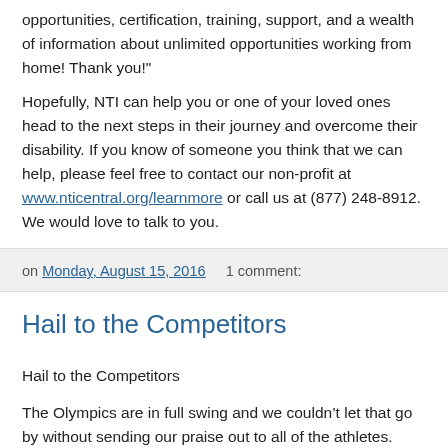opportunities, certification, training, support, and a wealth of information about unlimited opportunities working from home! Thank you!"
Hopefully, NTI can help you or one of your loved ones head to the next steps in their journey and overcome their disability. If you know of someone you think that we can help, please feel free to contact our non-profit at www.nticentral.org/learnmore or call us at (877) 248-8912.  We would love to talk to you.
on Monday, August 15, 2016    1 comment:
Hail to the Competitors
Hail to the Competitors
The Olympics are in full swing and we couldn't let that go by without sending our praise out to all of the athletes. There are two women